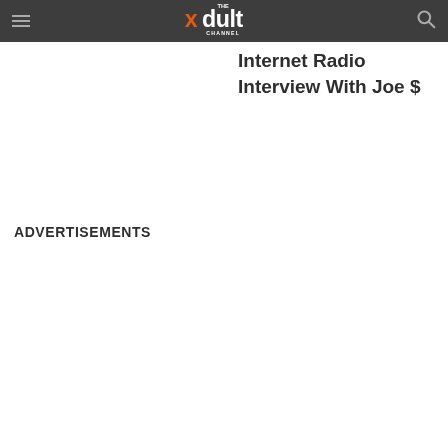THE xdult CHANNEL
Internet Radio Interview With Joe $
ADVERTISEMENTS